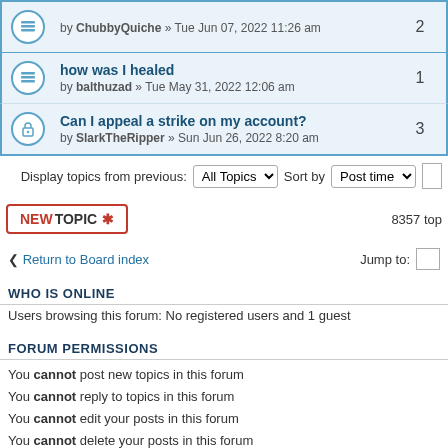by ChubbyQuiche » Tue Jun 07, 2022 11:26 am | replies: 2
how was I healed
by balthuzad » Tue May 31, 2022 12:06 am | replies: 1
Can I appeal a strike on my account?
by SlarkTheRipper » Sun Jun 26, 2022 8:20 am | replies: 3
Display topics from previous: All Topics  Sort by  Post time
NEWTOPIC* 8357 top
« Return to Board index  Jump to:
WHO IS ONLINE
Users browsing this forum: No registered users and 1 guest
FORUM PERMISSIONS
You cannot post new topics in this forum
You cannot reply to topics in this forum
You cannot edit your posts in this forum
You cannot delete your posts in this forum
Board index  The team • Delete all
Powered by phpBB® Forum Software © phpBB Gr